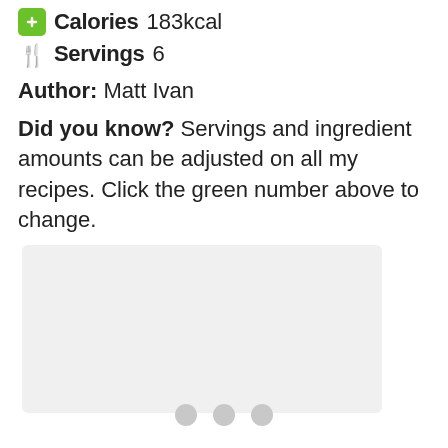Calories 183kcal
Servings 6
Author: Matt Ivan
Did you know? Servings and ingredient amounts can be adjusted on all my recipes. Click the green number above to change.
[Figure (other): Gray placeholder box with three dots below indicating image carousel]